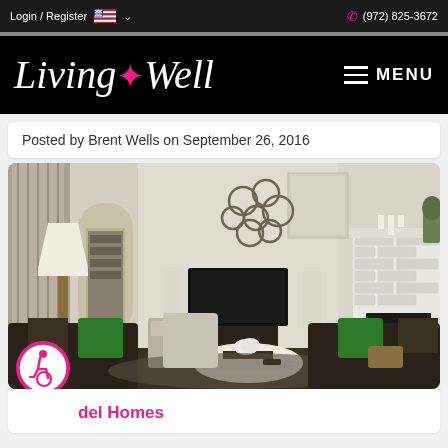Login / Register  (972) 825-3672
[Figure (logo): Living Well logo with pink fleur-de-lis in script font on black background, with MENU hamburger icon on right]
Posted by Brent Wells on September 26, 2016
[Figure (photo): Interior photo of a styled model home living room with cream walls, dark furniture, green accent pillows, white round coffee table, wall-mounted TV, decorative metal wall art, white brick fireplace, and a table lamp]
del Homes